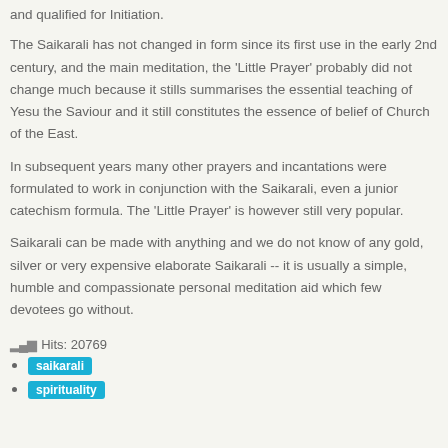and qualified for Initiation.
The Saikarali has not changed in form since its first use in the early 2nd century, and the main meditation, the 'Little Prayer' probably did not change much because it stills summarises the essential teaching of Yesu the Saviour and it still constitutes the essence of belief of Church of the East.
In subsequent years many other prayers and incantations were formulated to work in conjunction with the Saikarali, even a junior catechism formula. The 'Little Prayer' is however still very popular.
Saikarali can be made with anything and we do not know of any gold, silver or very expensive elaborate Saikarali -- it is usually a simple, humble and compassionate personal meditation aid which few devotees go without.
Hits: 20769
saikarali
spirituality